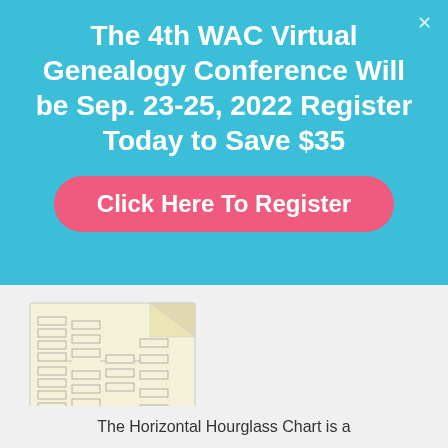The 4th WAC Virtual Genealogy Conference Will be Sep. 23-25, 2022 Register Today to Save $35
Click Here To Register
[Figure (other): Thumbnail image of a Horizontal Hourglass genealogy chart on a cream-colored background with small boxes and connecting lines]
The Horizontal Hourglass Chart is a